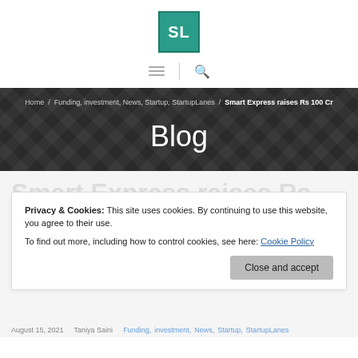[Figure (logo): SL logo — teal/green square with white letters SL]
≡ | 🔍
Home / Funding, investment, News, Startup, StartupLanes / Smart Express raises Rs 100 Cr
Blog
Privacy & Cookies: This site uses cookies. By continuing to use this website, you agree to their use.
To find out more, including how to control cookies, see here: Cookie Policy
Close and accept
August 15, 2021   Taniya Saini   Funding, investment, News, Startup, StartupLanes